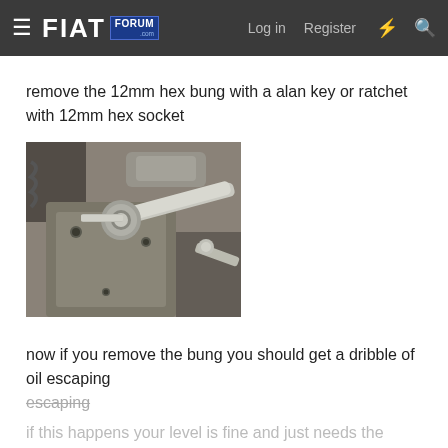FIAT FORUM .com — Log in   Register
remove the 12mm hex bung with a alan key or ratchet with 12mm hex socket
[Figure (photo): Photo of a ratchet with hex socket being used on a car engine component (gearbox/transmission area), metal parts visible]
now if you remove the bung you should get a dribble of oil escaping
if this happens your level is fine and just needs the bung